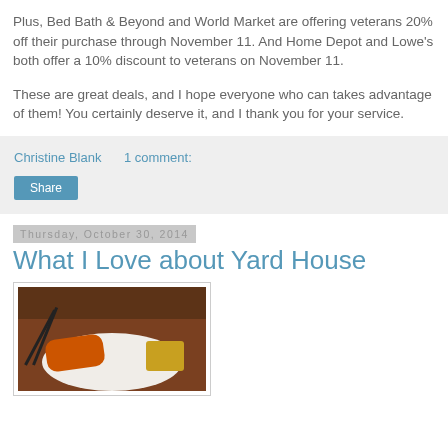Plus, Bed Bath & Beyond and World Market are offering veterans 20% off their purchase through November 11. And Home Depot and Lowe's both offer a 10% discount to veterans on November 11.
These are great deals, and I hope everyone who can takes advantage of them! You certainly deserve it, and I thank you for your service.
Christine Blank    1 comment:
Share
Thursday, October 30, 2014
What I Love about Yard House
[Figure (photo): A plate of food (orange glazed chicken/shrimp with fries) on a dark wooden table, with chopsticks visible on the left side.]